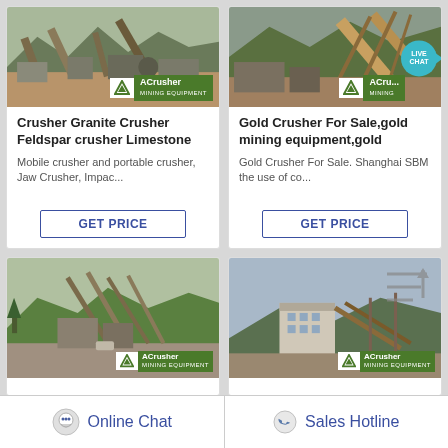[Figure (photo): Mining crusher plant facility with conveyor belts and equipment, ACrusher Mining Equipment logo overlay]
Crusher Granite Crusher Feldspar crusher Limestone
Mobile crusher and portable crusher, Jaw Crusher, Impac...
GET PRICE
[Figure (photo): Mining crusher plant with conveyor belts on hillside, ACrusher Mining Equipment logo overlay, LIVE CHAT bubble]
Gold Crusher For Sale,gold mining equipment,gold
Gold Crusher For Sale. Shanghai SBM the use of co...
GET PRICE
[Figure (photo): Mining processing plant with conveyor system in mountainous area, ACrusher logo]
[Figure (photo): Industrial mining facility with large building and conveyor belts, sort icon overlay, ACrusher logo]
Online Chat
Sales Hotline